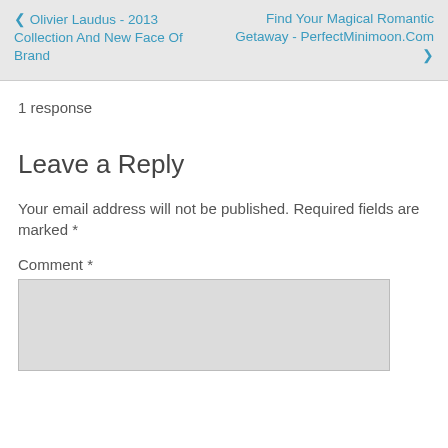❮ Olivier Laudus - 2013 Collection And New Face Of Brand
Find Your Magical Romantic Getaway - PerfectMinimoon.Com ❯
1 response
Leave a Reply
Your email address will not be published. Required fields are marked *
Comment *